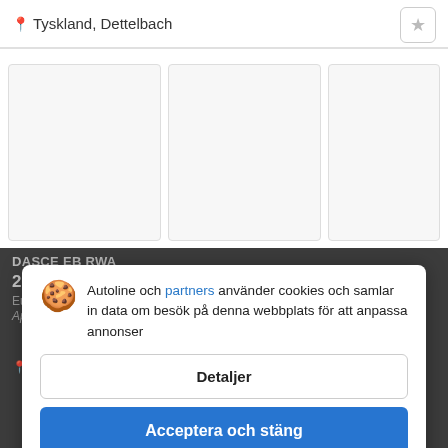Tyskland, Dettelbach
[Figure (screenshot): Three blank white image card placeholders in a horizontal row]
DASCE EB RWA ... 25 170 € Euro, Eur... Ap. 2013 · Milal 207/10 km
Polen, Grzegov
Autoline och partners använder cookies och samlar in data om besök på denna webbplats för att anpassa annonser
Detaljer
Acceptera och stäng